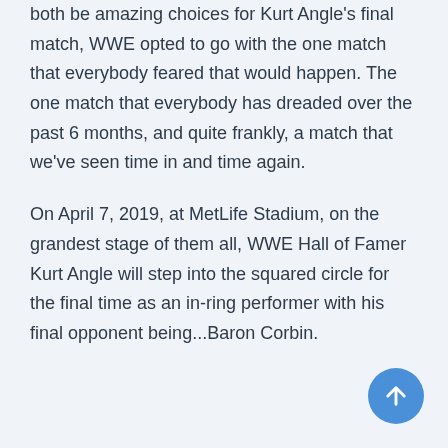both be amazing choices for Kurt Angle's final match, WWE opted to go with the one match that everybody feared that would happen. The one match that everybody has dreaded over the past 6 months, and quite frankly, a match that we've seen time in and time again.
On April 7, 2019, at MetLife Stadium, on the grandest stage of them all, WWE Hall of Famer Kurt Angle will step into the squared circle for the final time as an in-ring performer with his final opponent being...Baron Corbin.